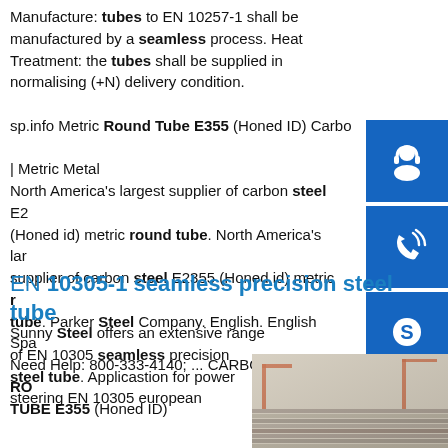Manufacture: tubes to EN 10257-1 shall be manufactured by a seamless process. Heat Treatment: the tubes shall be supplied in normalising (+N) delivery condition.
sp.info Metric Round Tube E355 (Honed ID) Carbon Steel | Metric Metal
North America's largest supplier of carbon steel E2355 (Honed id) metric round tube. North America's largest supplier of carbon steel E2355 (Honed id) metric round tube. Parker Steel Company. English. English Spanish Need Help: 800-333-4140; ... CARBON STEEL ROUND TUBE E355 (Honed ID)
[Figure (illustration): Three blue square buttons: headset/support icon, phone/call icon, Skype icon]
EN 10305-1 seamless precision steel tube
Sunny Steel offers an extensive range of EN 10305 seamless precision steel tube. Applicastion for power steering EN 10305 european
[Figure (photo): Photo of stacked steel plates/sheets, industrial setting with crane in background]